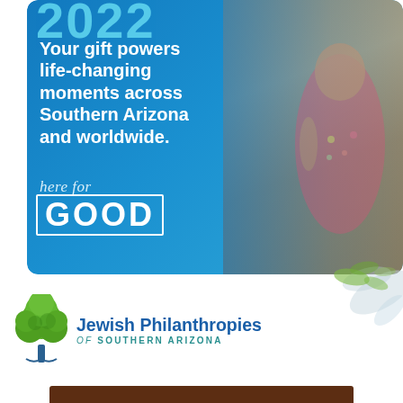[Figure (illustration): Blue promotional banner with photo of children and 'here for GOOD' text overlay, showing a young girl in a floral dress]
Your gift powers life-changing moments across Southern Arizona and worldwide.
[Figure (logo): Jewish Philanthropies of Southern Arizona logo with green tree icon]
[Figure (other): Dark brown bar at bottom of page, partially visible]